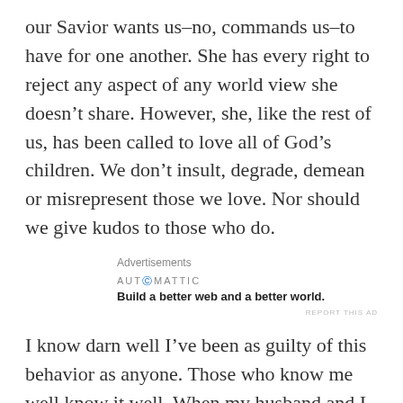our Savior wants us–no, commands us–to have for one another. She has every right to reject any aspect of any world view she doesn’t share. However, she, like the rest of us, has been called to love all of God’s children. We don’t insult, degrade, demean or misrepresent those we love. Nor should we give kudos to those who do.
Advertisements
[Figure (other): Automattic advertisement: Build a better web and a better world.]
REPORT THIS AD
I know darn well I’ve been as guilty of this behavior as anyone. Those who know me well know it well. When my husband and I dated, he called me his lovely little Sherman tank because sometimes I was so sure of being right that I confused that confidence with being